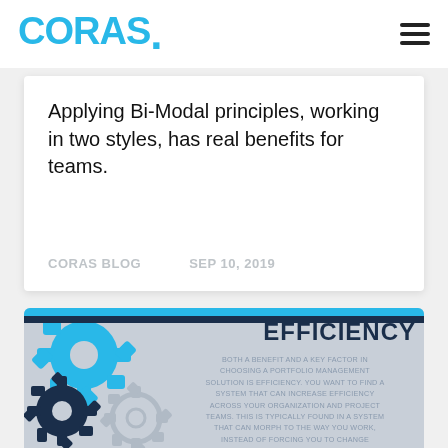CORAS.
Applying Bi-Modal principles, working in two styles, has real benefits for teams.
CORAS BLOG   SEP 10, 2019
[Figure (infographic): Efficiency infographic with gear icons on a gray background. Title reads EFFICIENCY in dark navy. Body text: BOTH A BENEFIT AND A KEY FACTOR IN CHOOSING A PORTFOLIO MANAGEMENT SOLUTION IS EFFICIENCY. YOU WANT TO FIND A SYSTEM THAT CAN INCREASE EFFICIENCY ACROSS YOUR ORGANIZATION AND PROJECT TEAMS. THIS IS TYPICALLY FOUND IN A SYSTEM THAT CAN MORPH TO THE WAY YOU WORK, INSTEAD OF FORCING YOU TO CHANGE ALLOWING YOUR TEAMS' PROJEC MANAGERS]